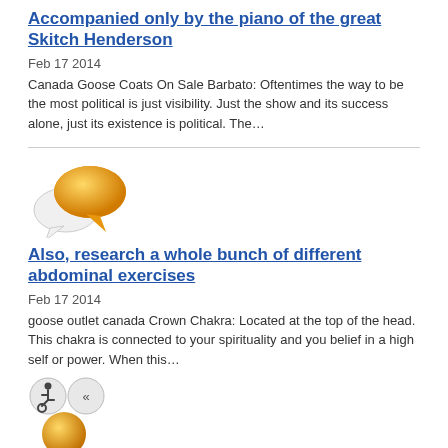Accompanied only by the piano of the great Skitch Henderson
Feb 17 2014
Canada Goose Coats On Sale Barbato: Oftentimes the way to be the most political is just visibility. Just the show and its success alone, just its existence is political. The…
[Figure (illustration): Two speech bubble icons — one white and one orange/yellow — overlapping, representing a comment or chat icon]
Also, research a whole bunch of different abdominal exercises
Feb 17 2014
goose outlet canada Crown Chakra: Located at the top of the head. This chakra is connected to your spirituality and you belief in a high self or power. When this…
[Figure (illustration): Pagination area with a wheelchair accessibility icon button and a double-left-arrow button, plus an orange circle at the bottom]